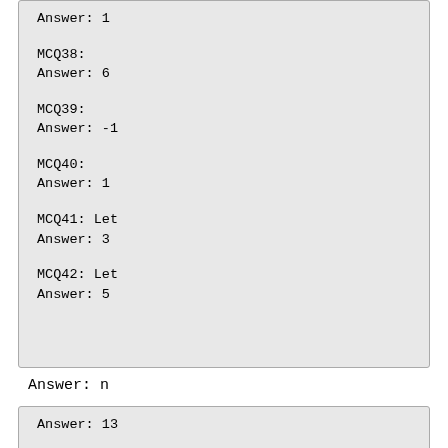Answer: 1
MCQ38:
Answer: 6
MCQ39:
Answer: -1
MCQ40:
Answer: 1
MCQ41: Let
Answer: 3
MCQ42: Let
Answer: 5
Answer: n
Answer: 13
MCQ44:
Answer: Does not exist